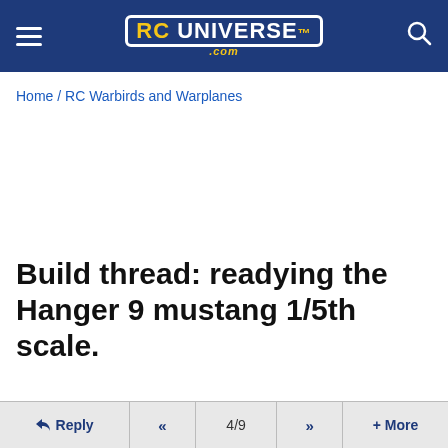RC Universe .com
Home / RC Warbirds and Warplanes
Build thread: readying the Hanger 9 mustang 1/5th scale.
Subscribe
Reply  <<  4/9  >>  + More